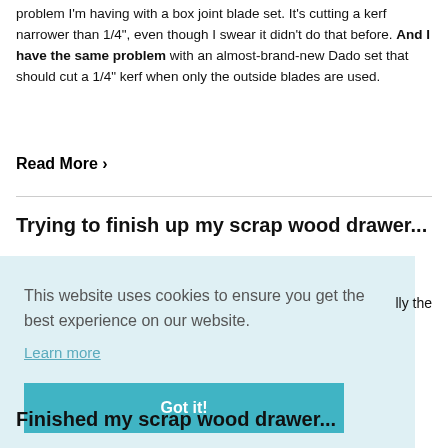problem I'm having with a box joint blade set. It's cutting a kerf narrower than 1/4", even though I swear it didn't do that before. And I have the same problem with an almost-brand-new Dado set that should cut a 1/4" kerf when only the outside blades are used.
Read More ›
Trying to finish up my scrap wood drawer...
This website uses cookies to ensure you get the best experience on our website. Learn more
Got it!
lly the
Finished my scrap wood drawer...